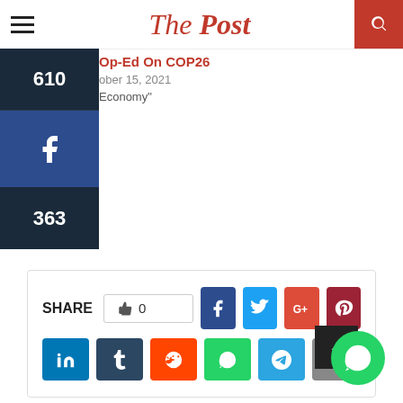The Post
Op-Ed On COP26
ober 15, 2021
Economy"
SHARE 0
[Figure (screenshot): Social share buttons: thumbs-up count (0), Facebook, Twitter, Google+, Pinterest, LinkedIn, Tumblr, Reddit, WhatsApp, Telegram, Email]